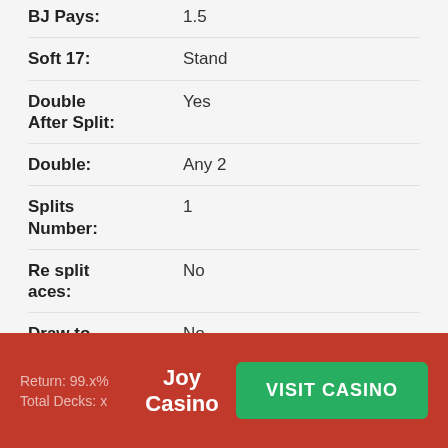BJ Pays: 1.5
Soft 17: Stand
Double After Split: Yes
Double: Any 2
Splits Number: 1
Re split aces: No
Draw to split aces: No
Peek: Yes
Surr-ender: No
Joy Casino  VISIT CASINO  Return: 99.x%  Total Decks: x